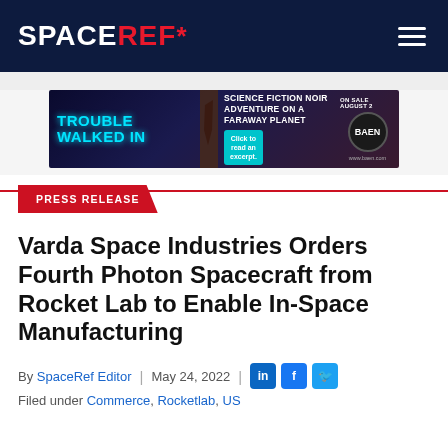SPACEREF*
[Figure (photo): Advertisement banner for 'Trouble Walked In' book — Science Fiction Noir Adventure on a Faraway Planet, with a Click to read an excerpt button, On Sale August 2, www.baen.com]
PRESS RELEASE
Varda Space Industries Orders Fourth Photon Spacecraft from Rocket Lab to Enable In-Space Manufacturing
By SpaceRef Editor | May 24, 2022
Filed under Commerce, Rocketlab, US